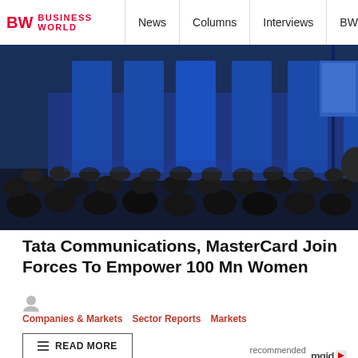BW BUSINESSWORLD  News  Columns  Interviews  BW
[Figure (photo): Conference hall with audience seated in dark chairs, a speaker at a podium on a lit blue stage with decorative WEF-style banners]
Tata Communications, MasterCard Join Forces To Empower 100 Mn Women
[author icon]
Companies & Markets   Sector Reports   Markets
READ MORE
recommended by   mgid
[Figure (photo): Close-up of a woman's face, partially visible at bottom of page]